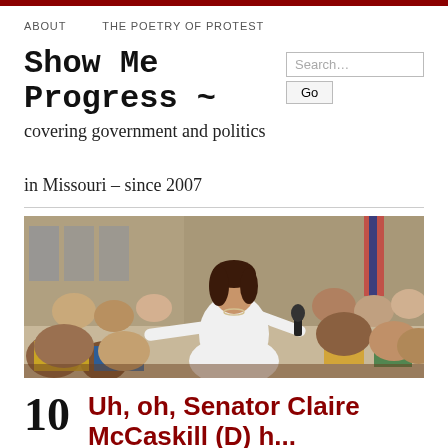ABOUT   THE POETRY OF PROTEST
Show Me Progress ~
covering government and politics in Missouri – since 2007
[Figure (photo): A woman in a white outfit holds a microphone and points outward to a crowd at a political rally event, with an American flag visible in the background.]
10   Uh, oh, Senator Claire McCaskill (D) h...